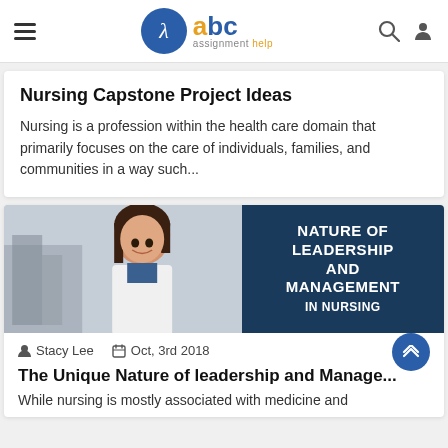[Figure (logo): ABC Assignment Help logo with lambda symbol in blue circle]
Nursing Capstone Project Ideas
Nursing is a profession within the health care domain that primarily focuses on the care of individuals, families, and communities in a way such...
[Figure (photo): Photo of smiling female nurse in white coat on left; dark blue panel on right with text 'NATURE OF LEADERSHIP AND MANAGEMENT IN NURSING']
Stacy Lee   Oct, 3rd 2018
The Unique Nature of leadership and Manage...
While nursing is mostly associated with medicine and